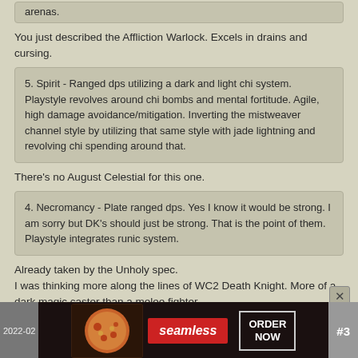arenas.
You just described the Affliction Warlock. Excels in drains and cursing.
5. Spirit - Ranged dps utilizing a dark and light chi system. Playstyle revolves around chi bombs and mental fortitude. Agile, high damage avoidance/mitigation. Inverting the mistweaver channel style by utilizing that same style with jade lightning and revolving chi spending around that.
There's no August Celestial for this one.
4. Necromancy - Plate ranged dps. Yes I know it would be strong. I am sorry but DK's should just be strong. That is the point of them. Playstyle integrates runic system.
Already taken by the Unholy spec.
I was thinking more along the lines of WC2 Death Knight. More of a dark magic caster than a melee fighter.
Patch 4.1 - Rise of the Trolls.
Reply With Quote
[Figure (screenshot): Advertisement banner for Seamless food delivery showing pizza image, Seamless logo in red, and ORDER NOW button. Left shows date '2022-02' and right shows post number '#3'.]